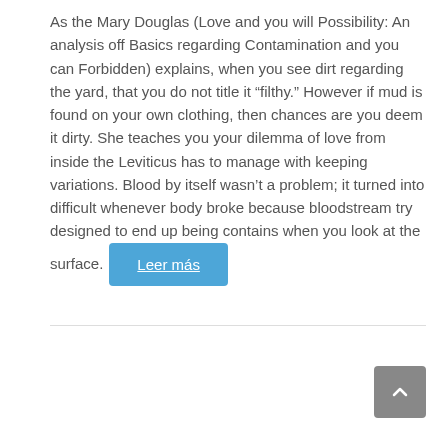As the Mary Douglas (Love and you will Possibility: An analysis off Basics regarding Contamination and you can Forbidden) explains, when you see dirt regarding the yard, that you do not title it “filthy.” However if mud is found on your own clothing, then chances are you deem it dirty. She teaches you your dilemma of love from inside the Leviticus has to manage with keeping variations. Blood by itself wasn’t a problem; it turned into difficult whenever body broke because bloodstream try designed to end up being contains when you look at the surface. Leer más